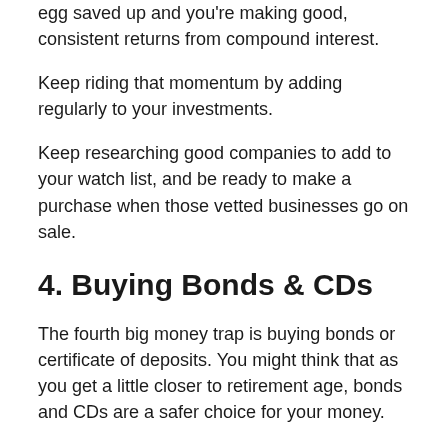egg saved up and you're making good, consistent returns from compound interest.
Keep riding that momentum by adding regularly to your investments.
Keep researching good companies to add to your watch list, and be ready to make a purchase when those vetted businesses go on sale.
4. Buying Bonds & CDs
The fourth big money trap is buying bonds or certificate of deposits. You might think that as you get a little closer to retirement age, bonds and CDs are a safer choice for your money.
The problem is at an average interest rate of 3%, they'll barely cover the cost of inflation every year!
Instead of continuing to add to your investments and take advantage of that compound interest, you're essentially stagnating your potential for growth. 40 isn't the time to quote,